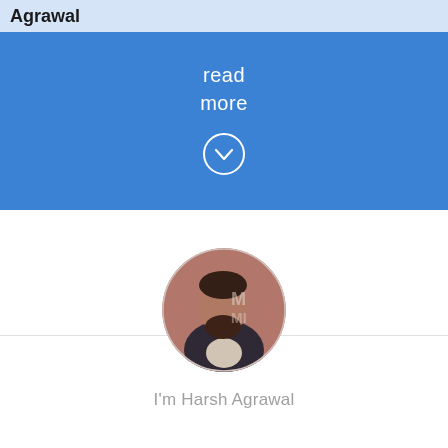Agrawal
read more
[Figure (illustration): Circular chevron down icon in white on blue background]
[Figure (photo): Circular profile photo of Harsh Agrawal]
I'm Harsh Agrawal